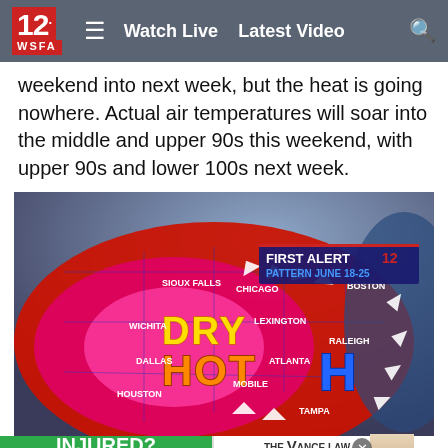12 WSFA  ≡  Watch Live  Latest Video  🔍
weekend into next week, but the heat is going nowhere. Actual air temperatures will soar into the middle and upper 90s this weekend, with upper 90s and lower 100s next week.
[Figure (map): WSFA First Alert 12 weather map showing DRY HOT pattern June 18-25 over the eastern and central United States. Cities labeled: Sioux Falls, Chicago, Boston, Wichita, Lexington, Raleigh, Dallas, Atlanta, Mobile, Houston, Tampa. A blue 'H' (high pressure) sits over the southeast. Large pink/red heat coverage across the region.]
A heat d  ...  his weekend